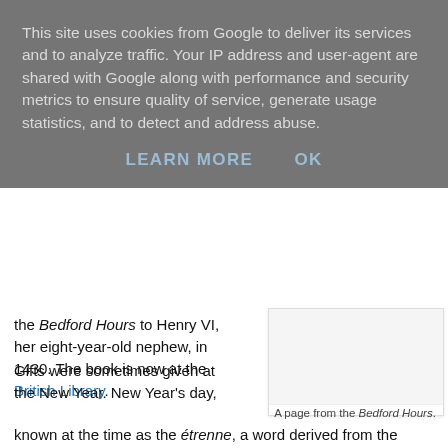This site uses cookies from Google to deliver its services and to analyze traffic. Your IP address and user-agent are shared with Google along with performance and security metrics to ensure quality of service, generate usage statistics, and to detect and address abuse.
LEARN MORE    OK
the Bedford Hours to Henry VI, her eight-year-old nephew, in 1430. The book is now at the British Library.
[Figure (illustration): A page from the Bedford Hours manuscript illustration]
A page from the Bedford Hours.
Gifts were sometimes given at the New Year. New Year's day, known at the time as the étrenne, a word derived from the Latin strena, (used to mean both the gifts and the ritual exchange) was the traditional time to do so. Gifts might be food -Christmas was a time of feasting and, for example, it was considered bad luck to refuse a Christmas mince pie